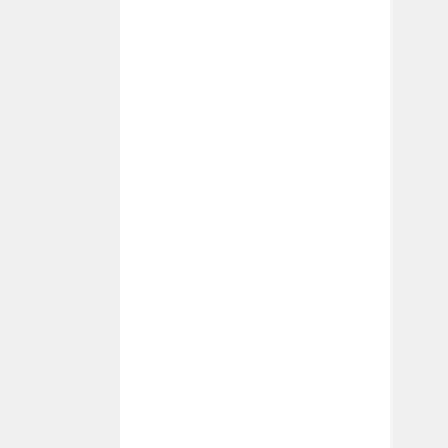to th Di nc re th Te wi th fo To Pi Ei Fo Jul on Fin Ap to Ru 20 Ri